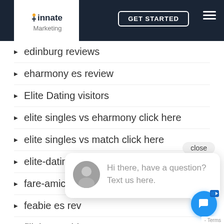Innate Marketing — GET STARTED
edinburg reviews
eharmony es review
Elite Dating visitors
elite singles vs eharmony click here
elite singles vs match click here
elite-dating-canada review
fare-amicizia
feabie es review
filipino cupid
Find A Wife Online
Find Brides
fontana review
[Figure (screenshot): Chat popup with avatar and message: Hi there, have a question? Text us here.]